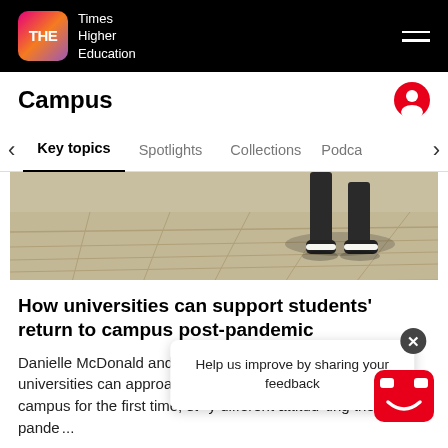THE Times Higher Education
Campus
[Figure (photo): Photograph of student legs walking across a paved campus area, shot from low angle with shadows and sunlight on pavement]
How universities can support students' return to campus post-pandemic
Danielle McDonald and colleagues share advice on how universities can approach welcoming two student cohorts to campus for the first time, st... y different attitud... ring the post-pande...